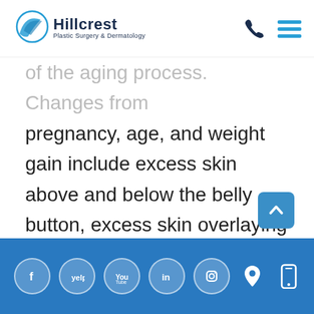Hillcrest Plastic Surgery & Dermatology
of the aging process. Changes from pregnancy, age, and weight gain include excess skin above and below the belly button, excess skin overlaying the belly button with a change in shape, descent of the pubis with accumulation of fatty deposits, and lax muscles with fatty deposits around the waist line along with stretch marks. Because these developments happen
Social media icons (Facebook, Yelp, YouTube, LinkedIn, Instagram) and contact icons (location, mobile)